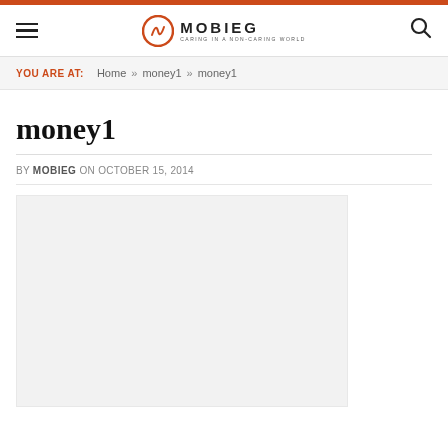MOBIEG — CARING IN A NON-CARING WORLD
YOU ARE AT: Home » money1 » money1
money1
BY MOBIEG ON OCTOBER 15, 2014
[Figure (photo): Blank/placeholder image area below the article byline]